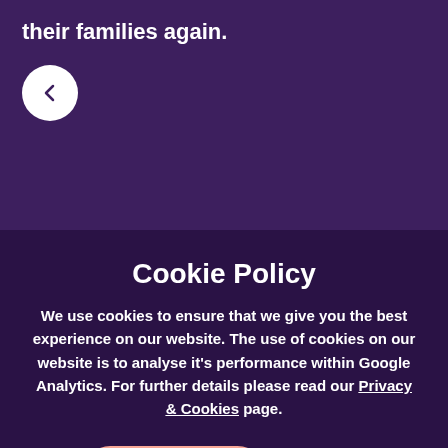their families again.
[Figure (other): Back navigation button (white circle with left chevron)]
Cookie Policy
We use cookies to ensure that we give you the best experience on our website. The use of cookies on our website is to analyse it's performance within Google Analytics. For further details please read our Privacy & Cookies page.
ACCEPT
DENY